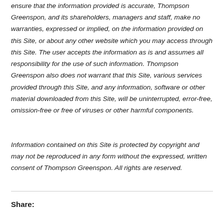ensure that the information provided is accurate, Thompson Greenspon, and its shareholders, managers and staff, make no warranties, expressed or implied, on the information provided on this Site, or about any other website which you may access through this Site. The user accepts the information as is and assumes all responsibility for the use of such information. Thompson Greenspon also does not warrant that this Site, various services provided through this Site, and any information, software or other material downloaded from this Site, will be uninterrupted, error-free, omission-free or free of viruses or other harmful components.
Information contained on this Site is protected by copyright and may not be reproduced in any form without the expressed, written consent of Thompson Greenspon. All rights are reserved.
Share: